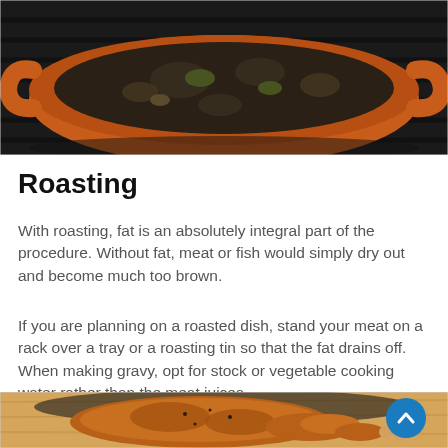[Figure (photo): Photo of an orange/terracotta Dutch oven pot with bubbling stew or braised contents on a dark stovetop grate, viewed from above at an angle.]
Roasting
With roasting, fat is an absolutely integral part of the procedure. Without fat, meat or fish would simply dry out and become much too brown.
If you are planning on a roasted dish, stand your meat on a rack over a tray or a roasting tin so that the fat drains off. When making gravy, opt for stock or vegetable cooking water rather than the meat juices.
[Figure (photo): Photo of a roasted chicken on a dark pan on a wooden surface, seasoned with herbs and spices, partially visible at the bottom of the page.]